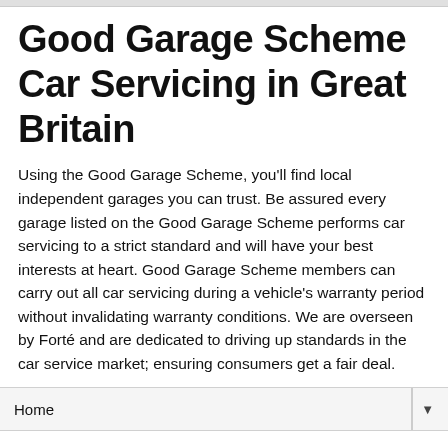Good Garage Scheme Car Servicing in Great Britain
Using the Good Garage Scheme, you'll find local independent garages you can trust. Be assured every garage listed on the Good Garage Scheme performs car servicing to a strict standard and will have your best interests at heart. Good Garage Scheme members can carry out all car servicing during a vehicle's warranty period without invalidating warranty conditions. We are overseen by Forté and are dedicated to driving up standards in the car service market; ensuring consumers get a fair deal.
Home
Wednesday, 30 March 2011
Good Garage Scheme reads buyers